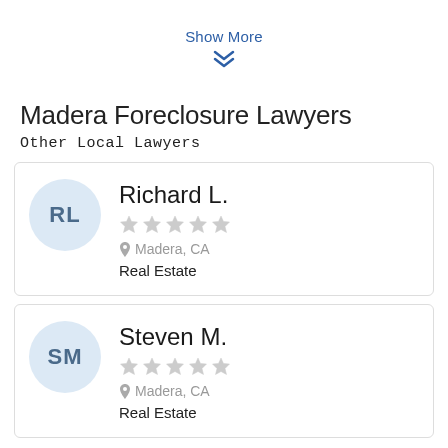Show More
Madera Foreclosure Lawyers
Other Local Lawyers
Richard L.
★★★★★
Madera, CA
Real Estate
Steven M.
★★★★★
Madera, CA
Real Estate